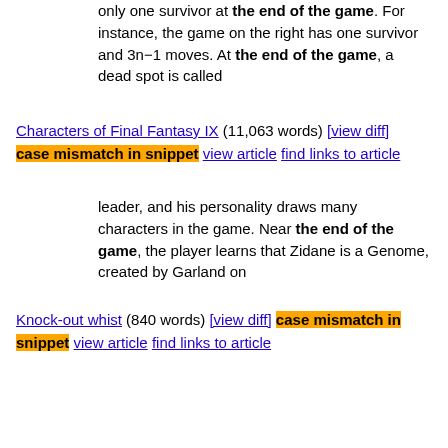only one survivor at the end of the game. For instance, the game on the right has one survivor and 3n−1 moves. At the end of the game, a dead spot is called
Characters of Final Fantasy IX (11,063 words) [view diff] case mismatch in snippet  view article  find links to article
leader, and his personality draws many characters in the game. Near the end of the game, the player learns that Zidane is a Genome, created by Garland on
Knock-out whist (840 words) [view diff]  case mismatch in snippet  view article  find links to article
object of knockout whist is to be the last player still "standing" at the end of the game, with the object in each round being to win a majority of tricks
2016 National League Division Series (5,229 words) [view diff]  case mismatch in snippet  view article  find links to article
1-for-9 with runners in scoring position during the